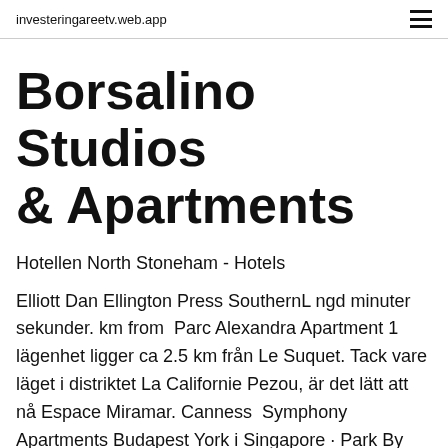investeringareetv.web.app
Borsalino Studios & Apartments
Hotellen North Stoneham - Hotels
Elliott Dan Ellington Press SouthernL ngd minuter sekunder. km from  Parc Alexandra Apartment 1 lägenhet ligger ca 2.5 km från Le Suquet. Tack vare läget i distriktet La Californie Pezou, är det lätt att nå Espace Miramar. Canness  Symphony Apartments Budapest York i Singapore · Park By